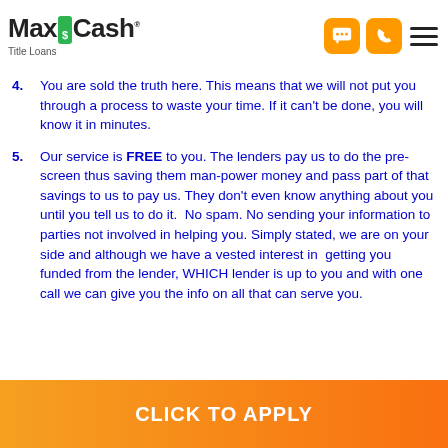[Figure (logo): MaxCash Title Loans logo with green dollar icon, and orange navigation icons (chat, phone) and hamburger menu]
4. You are sold the truth here. This means that we will not put you through a process to waste your time. If it can't be done, you will know it in minutes.
5. Our service is FREE to you. The lenders pay us to do the pre-screen thus saving them man-power money and pass part of that savings to us to pay us. They don't even know anything about you until you tell us to do it. No spam. No sending your information to parties not involved in helping you. Simply stated, we are on your side and although we have a vested interest in getting you funded from the lender, WHICH lender is up to you and with one call we can give you the info on all that can serve you.
CLICK TO APPLY